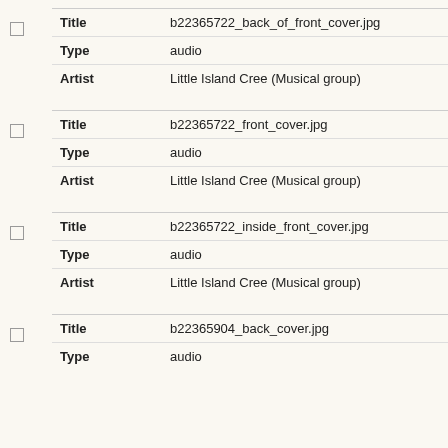| Field | Value |
| --- | --- |
| Title | b22365722_back_of_front_cover.jpg |
| Type | audio |
| Artist | Little Island Cree (Musical group) |
| Field | Value |
| --- | --- |
| Title | b22365722_front_cover.jpg |
| Type | audio |
| Artist | Little Island Cree (Musical group) |
| Field | Value |
| --- | --- |
| Title | b22365722_inside_front_cover.jpg |
| Type | audio |
| Artist | Little Island Cree (Musical group) |
| Field | Value |
| --- | --- |
| Title | b22365904_back_cover.jpg |
| Type | audio |